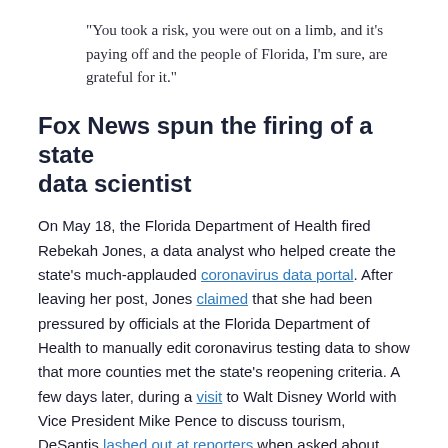“You took a risk, you were out on a limb, and it’s paying off and the people of Florida, I’m sure, are grateful for it.”
Fox News spun the firing of a state data scientist
On May 18, the Florida Department of Health fired Rebekah Jones, a data analyst who helped create the state’s much-applauded coronavirus data portal. After leaving her post, Jones claimed that she had been pressured by officials at the Florida Department of Health to manually edit coronavirus testing data to show that more counties met the state’s reopening criteria. A few days later, during a visit to Walt Disney World with Vice President Mike Pence to discuss tourism, DeSantis lashed out at reporters when asked about Jones’ firing.
“Our data is available, our data is transparent. In fact,